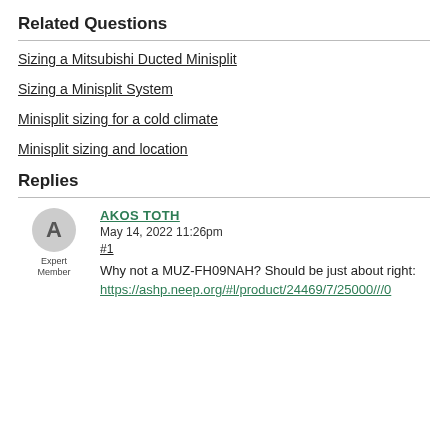Related Questions
Sizing a Mitsubishi Ducted Minisplit
Sizing a Minisplit System
Minisplit sizing for a cold climate
Minisplit sizing and location
Replies
AKOS TOTH
May 14, 2022 11:26pm
#1
Why not a MUZ-FH09NAH? Should be just about right:
https://ashp.neep.org/#l/product/24469/7/25000///0